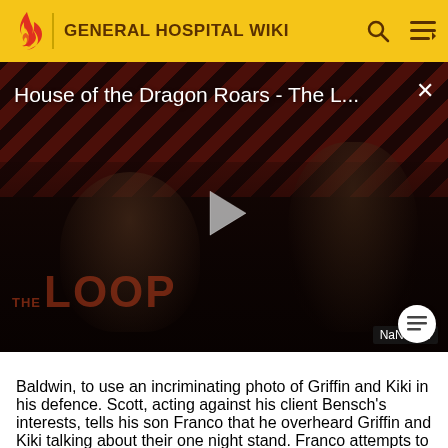GENERAL HOSPITAL WIKI
[Figure (screenshot): Video thumbnail for 'House of the Dragon Roars - The L...' showing two people in a dark setting with diagonal red and black stripe pattern background, a play button in the center, 'THE LOOP' watermark text, and NaN:NaN time indicator in bottom right corner]
Baldwin, to use an incriminating photo of Griffin and Kiki in his defence. Scott, acting against his client Bensch's interests, tells his son Franco that he overheard Griffin and Kiki talking about their one night stand. Franco attempts to tell Alexis, accidentally tells Ava instead, and